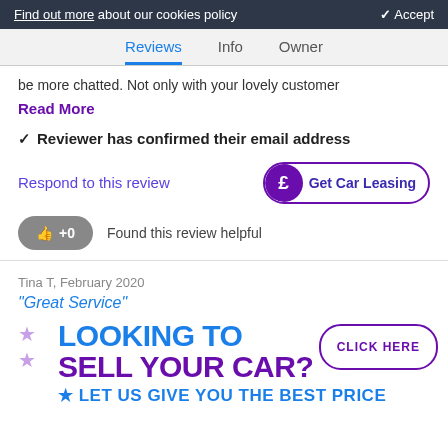Find out more about our cookies policy   ✓ Accept
Reviews  Info  Owner
be more chatted. Not only with your lovely customer
Read More
✓ Reviewer has confirmed their email address
Respond to this review
£ Get Car Leasing
👍 +0   Found this review helpful
Tina T, February 2020
"Great Service"
[Figure (infographic): Ad banner: LOOKING TO SELL YOUR CAR? LET US GIVE YOU THE BEST PRICE with CLICK HERE button]